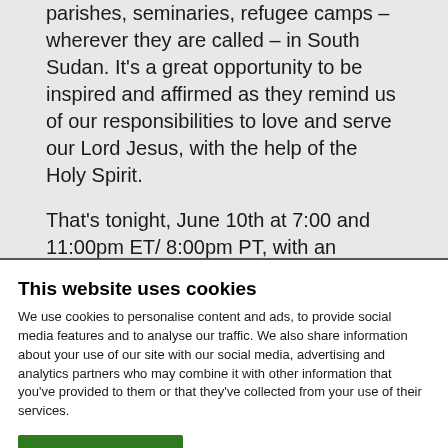parishes, seminaries, refugee camps – wherever they are called – in South Sudan. It's a great opportunity to be inspired and affirmed as they remind us of our responsibilities to love and serve our Lord Jesus, with the help of the Holy Spirit.
That's tonight, June 10th at 7:00 and 11:00pm ET/ 8:00pm PT, with an encore presentation Sunday, June 12th at the same times.
[Figure (logo): Logo bar showing SPRING and NOVALIS logos in gold/tan color on white background]
This website uses cookies
We use cookies to personalise content and ads, to provide social media features and to analyse our traffic. We also share information about your use of our site with our social media, advertising and analytics partners who may combine it with other information that you've provided to them or that they've collected from your use of their services.